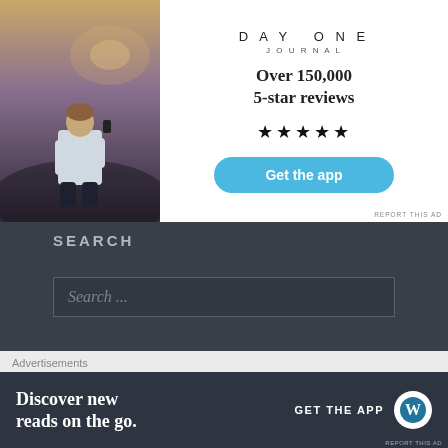[Figure (photo): Person sitting on rocks photographing sunset, viewed from behind, wearing white t-shirt, dark pants, holding phone]
[Figure (infographic): Day One Journal advertisement: logo at top, text 'Over 150,000 5-star reviews', five black stars, blue 'Get the app' button, 'REPORT THIS AD' small text]
SEARCH
[Figure (screenshot): Search input box with placeholder text 'Search ...']
TOP POSTS & PAGES
Advertisements
[Figure (infographic): WordPress app advertisement banner: 'Discover new reads on the go.' with 'GET THE APP' text and WordPress logo circle icon on dark background]